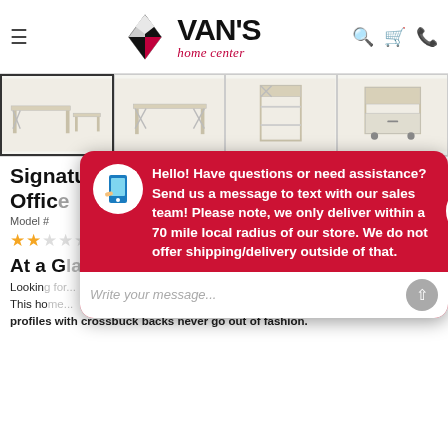[Figure (logo): Van's Home Center logo with diamond icon and stylized text]
[Figure (photo): Four thumbnail images of a white Signature Design by Ashley office furniture set including desk and bookcase]
Signature Design by Ashley® Carytown Office
Model #
[Figure (other): 2-star rating shown with filled and empty stars]
At a Glance
Looking for... This home... profiles with crossbuck backs never go out of fashion.
[Figure (screenshot): Chat popup overlay in red: Hello! Have questions or need assistance? Send us a message to text with our sales team! Please note, we only deliver within a 70 mile local radius of our store. We do not offer shipping/delivery outside of that. With a text input field saying Write your message...]